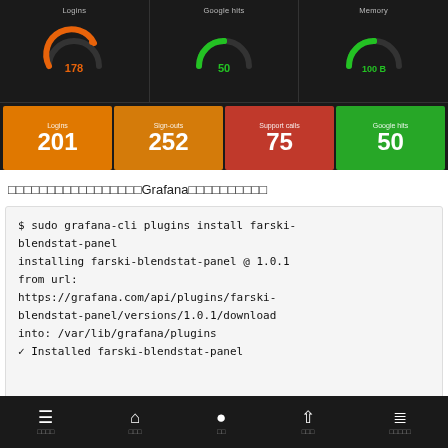[Figure (screenshot): Grafana dashboard screenshot showing three gauge panels (Logins=178, Google hits=50, Memory=100 B) and four stat tiles (Logins=201 orange, Sign-outs=252 orange, Support calls=75 red, Google hits=50 green)]
（画面は中国語または日本語テキスト）GrafanaプラグインのインストールUI
$ sudo grafana-cli plugins install farski-blendstat-panel
installing farski-blendstat-panel @ 1.0.1
from url:
https://grafana.com/api/plugins/farski-blendstat-panel/versions/1.0.1/download
into: /var/lib/grafana/plugins
✓ Installed farski-blendstat-panel
≡  🏠  🔍  ↑  ≡ (navigation bar)